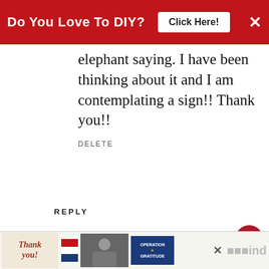[Figure (screenshot): Red banner advertisement: 'Do You Love To DIY?' with 'Click Here!' button and X close button]
elephant saying. I have been thinking about it and I am contemplating a sign!! Thank you!!
DELETE
REPLY
tammy j
JULY 1, 2016 AT 2:13 PM
good grief! beautiful job! YOU are nothing short of AMAZING
[Figure (screenshot): WHAT'S NEXT thumbnail with text: How To Touch Up Chipped...]
[Figure (screenshot): Advertisement banner: Thank you! with Operation Gratitude imagery]